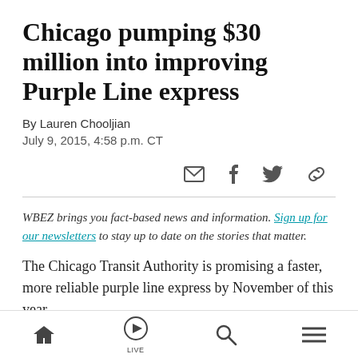Chicago pumping $30 million into improving Purple Line express
By Lauren Chooljian
July 9, 2015, 4:58 p.m. CT
[Figure (infographic): Social share icons: email, Facebook, Twitter, link]
WBEZ brings you fact-based news and information. Sign up for our newsletters to stay up to date on the stories that matter.
The Chicago Transit Authority is promising a faster, more reliable purple line express by November of this year.
Navigation bar with home, live, search, and menu icons